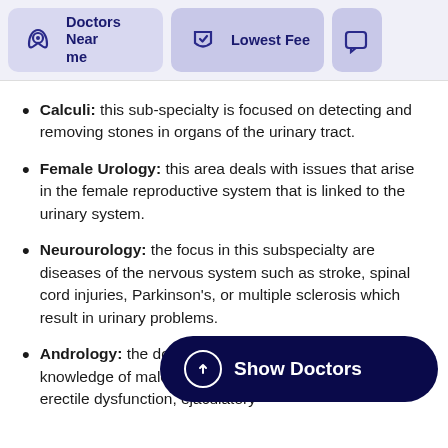Doctors Near me | Lowest Fee
Calculi: this sub-specialty is focused on detecting and removing stones in organs of the urinary tract.
Female Urology: this area deals with issues that arise in the female reproductive system that is linked to the urinary system.
Neurourology: the focus in this subspecialty are diseases of the nervous system such as stroke, spinal cord injuries, Parkinson's, or multiple sclerosis which result in urinary problems.
Andrology: the doctors that sp... extensive knowledge of male fe... key disorders include erectile dysfunction, ejaculatory